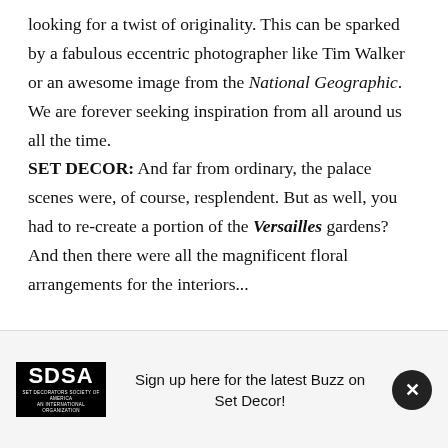looking for a twist of originality. This can be sparked by a fabulous eccentric photographer like Tim Walker or an awesome image from the National Geographic. We are forever seeking inspiration from all around us all the time.
SET DECOR: And far from ordinary, the palace scenes were, of course, resplendent. But as well, you had to re-create a portion of the Versailles gardens? And then there were all the magnificent floral arrangements for the interiors...
Sign up here for the latest Buzz on Set Decor!